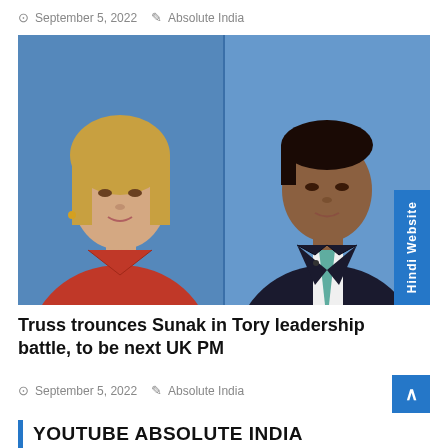September 5, 2022   Absolute India
[Figure (photo): Split image showing Liz Truss on the left in a red jacket against a blue background, and Rishi Sunak on the right in a dark suit with a teal tie against a blue background. A blue 'Hindi Website' badge is visible on the right edge.]
Truss trounces Sunak in Tory leadership battle, to be next UK PM
September 5, 2022   Absolute India
YOUTUBE ABSOLUTE INDIA